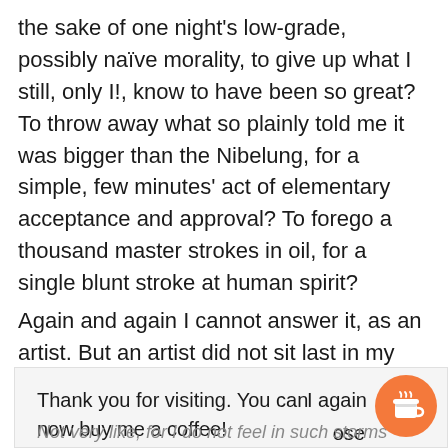the sake of one night's low-grade, possibly naïve morality, to give up what I still, only I!, know to have been so great? To throw away what so plainly told me it was bigger than the Nibelung, for a simple, few minutes' act of elementary acceptance and approval? To forego a thousand master strokes in oil, for a single blunt stroke at human spirit?
Again and again I cannot answer it, as an artist. But an artist did not sit last in my swivel-chair.
Thank you for visiting. You can now buy me a coffee! [I again] [ose] Not very like, for I do not feel in such storms